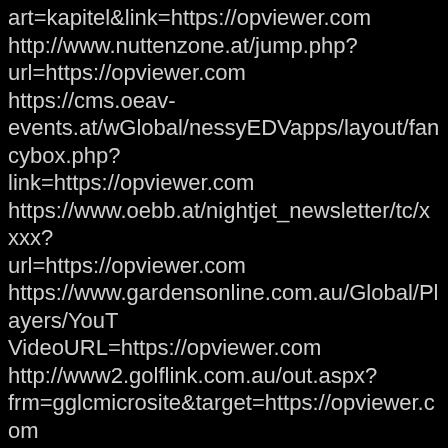art=kapitel&link=https://opviewer.com
http://www.nuttenzone.at/jump.php?url=https://opviewer.com
https://cms.oeav-events.at/wGlobal/nessyEDVapps/layout/fancybox.php?link=https://opviewer.com
https://www.oebb.at/nightjet_newsletter/tc/xxxx?url=https://opviewer.com
https://www.gardensonline.com.au/Global/Players/YouT VideoURL=https://opviewer.com
http://www2.golflink.com.au/out.aspx?frm=gglcmicrosite&target=https://opviewer.com
http://www2.golflink.com.au/out.aspx?frm=logo&target=https://opviewer.com
https://www.golfselect.com.au/redirect?activityType_cd=WEB-LINK&course_id=2568&tgturl=https://opviewer.com